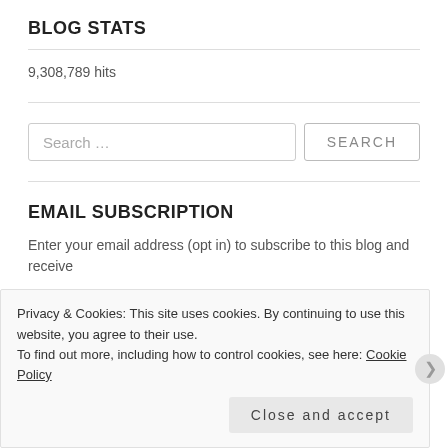BLOG STATS
9,308,789 hits
Search ...
EMAIL SUBSCRIPTION
Enter your email address (opt in) to subscribe to this blog and receive
Privacy & Cookies: This site uses cookies. By continuing to use this website, you agree to their use.
To find out more, including how to control cookies, see here: Cookie Policy
Close and accept